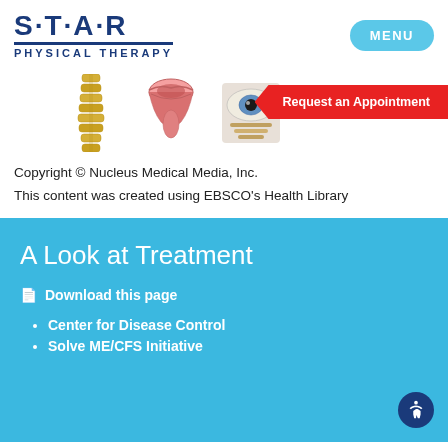[Figure (logo): STAR Physical Therapy logo with blue text and star symbols]
[Figure (other): Menu button (rounded rectangle, light blue)]
[Figure (illustration): Three medical illustrations: spine, throat/mouth, and eye anatomy. Red arrow banner reading 'Request an Appointment']
Copyright © Nucleus Medical Media, Inc.
This content was created using EBSCO's Health Library
A Look at Treatment
Download this page
Center for Disease Control
Solve ME/CFS Initiative